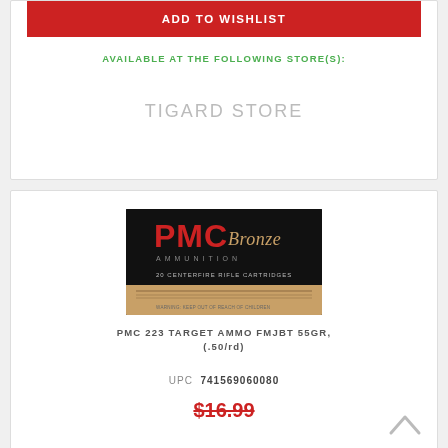ADD TO WISHLIST
AVAILABLE AT THE FOLLOWING STORE(S):
TIGARD STORE
[Figure (photo): PMC Bronze Ammunition box — 20 Centerfire Rifle Cartridges, black and tan packaging with red PMC logo]
PMC 223 TARGET AMMO FMJBT 55GR, (.50/rd)
UPC  741569060080
$16.99